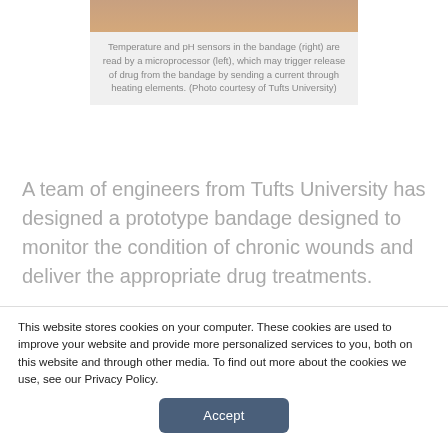[Figure (photo): Partial view of a hand/skin, photo courtesy of Tufts University showing the smart bandage setup]
Temperature and pH sensors in the bandage (right) are read by a microprocessor (left), which may trigger release of drug from the bandage by sending a current through heating elements. (Photo courtesy of Tufts University)
A team of engineers from Tufts University has designed a prototype bandage designed to monitor the condition of chronic wounds and deliver the appropriate drug treatments.
The research behind the prototype bandage was
This website stores cookies on your computer. These cookies are used to improve your website and provide more personalized services to you, both on this website and through other media. To find out more about the cookies we use, see our Privacy Policy.